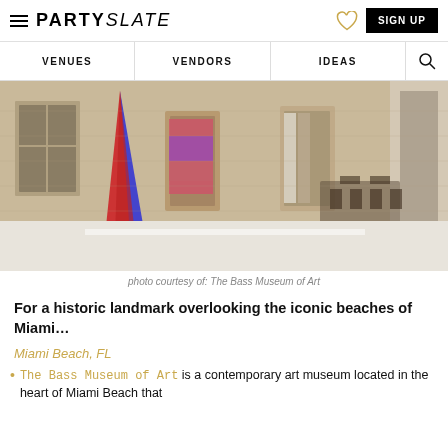PARTYSLATE — VENUES | VENDORS | IDEAS | SIGN UP
[Figure (photo): Interior of The Bass Museum of Art showing a large open gallery space with stone walls, a tall colorful red/blue sculptural installation on the left, and tables with chairs in the background.]
photo courtesy of: The Bass Museum of Art
For a historic landmark overlooking the iconic beaches of Miami…
Miami Beach, FL
The Bass Museum of Art is a contemporary art museum located in the heart of Miami Beach that